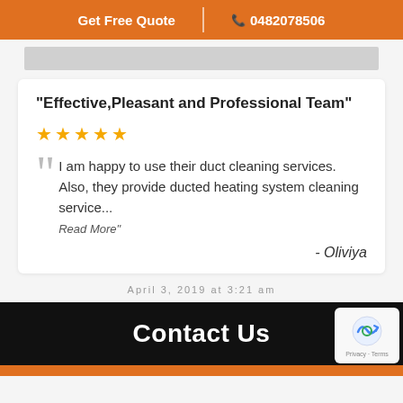Get Free Quote | 0482078506
"Effective,Pleasant and Professional Team"
★★★★★
I am happy to use their duct cleaning services. Also, they provide ducted heating system cleaning service...
Read More"
- Oliviya
April 3, 2019 at 3:21 am
Contact Us